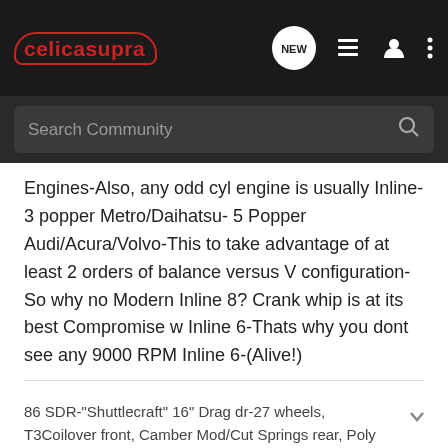[Figure (screenshot): CelicaSupra forum website header with logo, navigation icons (NEW chat bubble, list, user, more), and search bar]
Engines-Also, any odd cyl engine is usually Inline-3 popper Metro/Daihatsu- 5 Popper Audi/Acura/Volvo-This to take advantage of at least 2 orders of balance versus V configuration-So why no Modern Inline 8? Crank whip is at its best Compromise w Inline 6-Thats why you dont see any 9000 RPM Inline 6-(Alive!)
86 SDR-"Shuttlecraft" 16" Drag dr-27 wheels, T3Coilover front, Camber Mod/Cut Springs rear, Poly Bushings all around, Whiteline